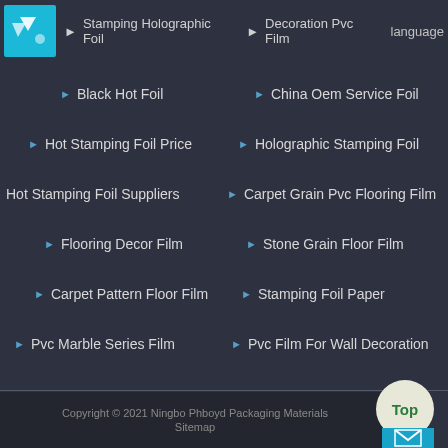Stamping Holographic Foil | Decoration Pvc Film | Language
Black Hot Foil
China Oem Service Foil
Hot Stamping Foil Price
Holographic Stamping Foil
Hot Stamping Foil Suppliers
Carpet Grain Pvc Flooring Film
Flooring Decor Film
Stone Grain Floor Film
Carpet Pattern Floor Film
Stamping Foil Paper
Pvc Marble Series Film
Pvc Film For Wall Decoration
Copyright © 2021 Ningbo Phboyd Packaging Materials | Sitemap